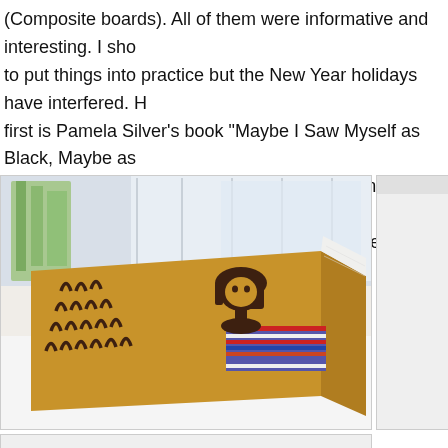(Composite boards). All of them were informative and interesting. I sho to put things into practice but the New Year holidays have interfered. H first is Pamela Silver's book “Maybe I Saw Myself as Black, Maybe as was done by Temma Gentles of Toronto. The next is my “Sloppy Retro done over the years, without the concern for neatness that usually hau
[Figure (photo): A large open book or portfolio with a golden/tan cover laid flat on a white surface. The cover features dark brown silhouette illustrations of curly brackets or arch shapes on the left panel and a simple figure/face silhouette on the right panel. The spine area shows colorful woven fabric or textile strips. Plants and a window are visible in the background.]
[Figure (photo): Partial view of another image, mostly white/light grey, cut off at the right edge of the page.]